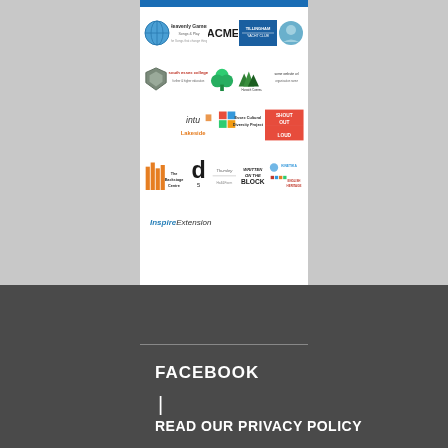[Figure (logo): Grid of organization/company logos including Heavenly Games, ACME, Tillingham Yacht Club, South Essex College, Shout Out Loud, intu Lakeside, Essex Cultural Diversity Project, The Backstage Centre, InspireExtension, and others]
FACEBOOK
|
READ OUR PRIVACY POLICY